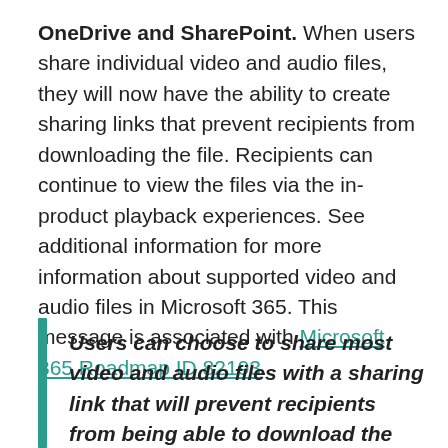OneDrive and SharePoint. When users share individual video and audio files, they will now have the ability to create sharing links that prevent recipients from downloading the file. Recipients can continue to view the files via the in-product playback experiences. See additional information for more information about supported video and audio files in Microsoft 365. This message is associated with Microsoft 365 Roadmap ID 82193.
Users can choose to share most video and audio files with a sharing link that will prevent recipients from being able to download the file. Recipients can still view the files in the in-product...